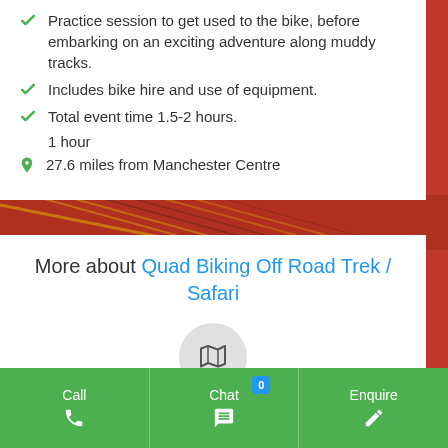Practice session to get used to the bike, before embarking on an exciting adventure along muddy tracks.
Includes bike hire and use of equipment.
Total event time 1.5-2 hours.
1 hour
27.6 miles from Manchester Centre
More about Quad Biking Off Road Trek / Safari
[Figure (illustration): Map icon inside a circular grey button]
Prepare to jump, soar and speed through
Call  Chat  0  Enquire